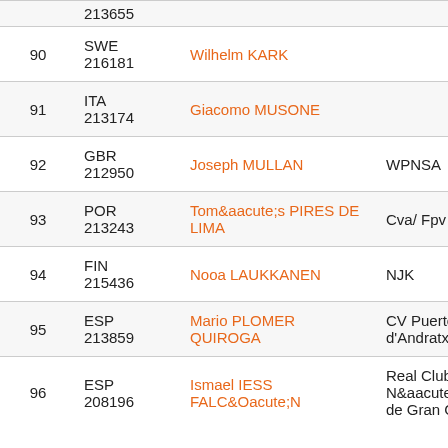| Rank | Country/Sail | Name | Club |
| --- | --- | --- | --- |
|  | 213655 |  |  |
| 90 | SWE
216181 | Wilhelm KARK |  |
| 91 | ITA
213174 | Giacomo MUSONE |  |
| 92 | GBR
212950 | Joseph MULLAN | WPNSA |
| 93 | POR
213243 | Tomás PIRES DE LIMA | Cva/ Fpv |
| 94 | FIN
215436 | Nooa LAUKKANEN | NJK |
| 95 | ESP
213859 | Mario PLOMER QUIROGA | CV Puerto d'Andratx |
| 96 | ESP
208196 | Ismael IESS FALCÓN | Real Club Náutico de Gran Canaria |